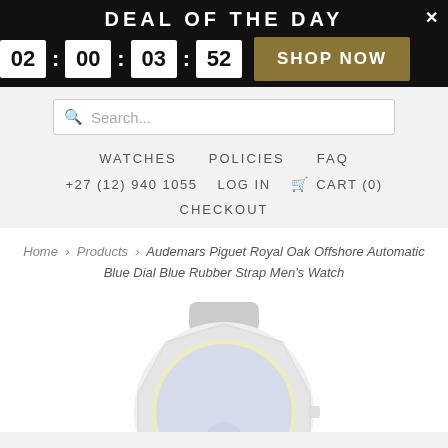DEAL OF THE DAY
02 : 00 : 03 : 52   SHOP NOW
Search...
WATCHES   POLICIES   FAQ
+27 (12) 940 1055   LOG IN   CART (0)
CHECKOUT
Home › Products › Audemars Piguet Royal Oak Offshore Automatic Blue Dial Blue Rubber Strap Men's Watch
[Figure (photo): Audemars Piguet Royal Oak Offshore watch with blue dial and blue rubber strap, shown from above, partially cropped]